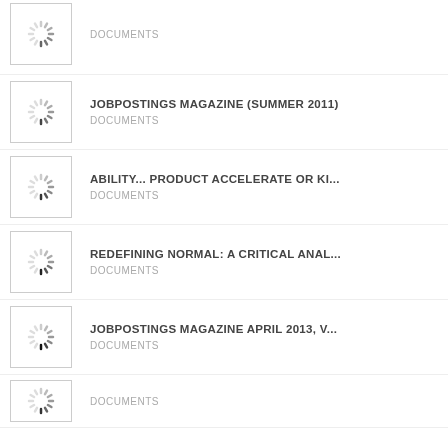DOCUMENTS
JOBPOSTINGS MAGAZINE (SUMMER 2011)
DOCUMENTS
ABILITY...  PRODUCT ACCELERATE OR KI...
DOCUMENTS
REDEFINING NORMAL: A CRITICAL ANAL...
DOCUMENTS
JOBPOSTINGS MAGAZINE APRIL 2013, V...
DOCUMENTS
DOCUMENTS